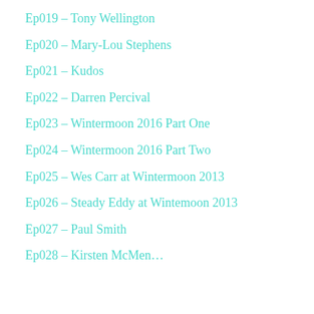Ep019 – Tony Wellington
Ep020 – Mary-Lou Stephens
Ep021 – Kudos
Ep022 – Darren Percival
Ep023 – Wintermoon 2016 Part One
Ep024 – Wintermoon 2016 Part Two
Ep025 – Wes Carr at Wintermoon 2013
Ep026 – Steady Eddy at Wintemoon 2013
Ep027 – Paul Smith
Ep028 – Kirsten McMen…